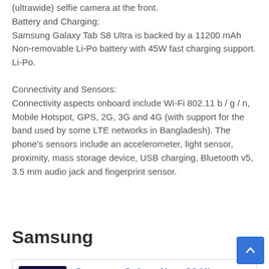(ultrawide) selfie camera at the front.
Battery and Charging:
Samsung Galaxy Tab S8 Ultra is backed by a 11200 mAh Non-removable Li-Po battery with 45W fast charging support. Li-Po.
Connectivity and Sensors:
Connectivity aspects onboard include Wi-Fi 802.11 b / g / n, Mobile Hotspot, GPS, 2G, 3G and 4G (with support for the band used by some LTE networks in Bangladesh). The phone's sensors include an accelerometer, light sensor, proximity, mass storage device, USB charging, Bluetooth v5, 3.5 mm audio jack and fingerprint sensor.
Samsung
Samsung Galaxy Note 20 Ultra 5G